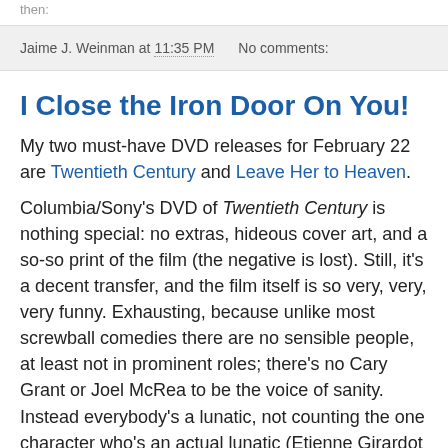then:
Jaime J. Weinman at 11:35 PM   No comments:
I Close the Iron Door On You!
My two must-have DVD releases for February 22 are Twentieth Century and Leave Her to Heaven.
Columbia/Sony's DVD of Twentieth Century is nothing special: no extras, hideous cover art, and a so-so print of the film (the negative is lost). Still, it's a decent transfer, and the film itself is so very, very, very funny. Exhausting, because unlike most screwball comedies there are no sensible people, at least not in prominent roles; there's no Cary Grant or Joel McRea to be the voice of sanity. Instead everybody's a lunatic, not counting the one character who's an actual lunatic (Etienne Girardot as the religious fanatic putting "REPENT!" stickers all over the train), and while John Barrymore of course gives the most insanely hammy performance in movie history, the others almost keep up with